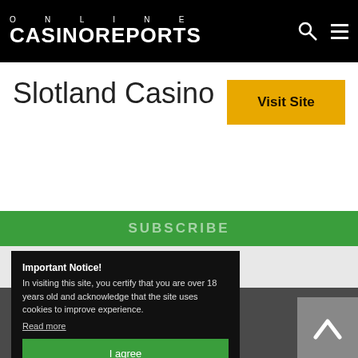ONLINE CASINOREPORTS
Slotland Casino
Visit Site
SUBSCRIBE
Online Casino Reports
About Us
Contact Us
Newsletter
Important Notice!
In visiting this site, you certify that you are over 18 years old and acknowledge that the site uses cookies to improve experience.
Read more
I agree
Responsible Gambling